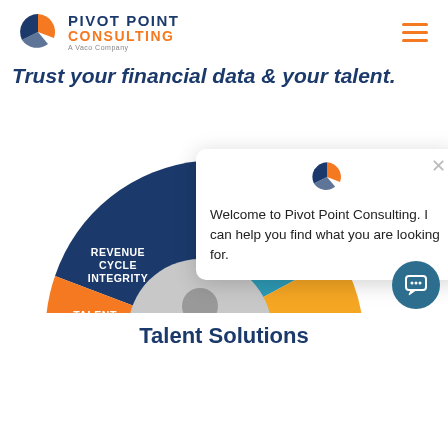[Figure (logo): Pivot Point Consulting logo with orange/blue icon and text 'PIVOT POINT CONSULTING A Vaco Company']
Trust your financial data & your talent.
[Figure (pie-chart): Partial donut/pie chart with segments: dark navy 'REVENUE CYCLE INTEGRITY', teal 'REVENUE CYCLE ANALYTICS', orange 'TALENT SOLUTIONS', gold segment (partially visible), and gray center circle. Chat popup overlaying part of the chart.]
Welcome to Pivot Point Consulting. I can help you find what you are looking for.
Talent Solutions